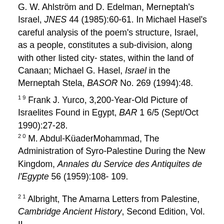G. W. Ahlström and D. Edelman, Merneptah's Israel, JNES 44 (1985):60-61. In Michael Hasel's careful analysis of the poem's structure, Israel, as a people, constitutes a sub-division, along with other listed city-states, within the land of Canaan; Michael G. Hasel, Israel in the Merneptah Stela, BASOR No. 269 (1994):48.
19 Frank J. Yurco, 3,200-Year-Old Picture of Israelites Found in Egypt, BAR 16/5 (Sept/Oct 1990):27-28.
20 M. Abdul-KüaderMohammad, The Administration of Syro-Palestine During the New Kingdom, Annales du Service des Antiquites de l'Egypte 56 (1959):108-109.
21 Albright, The Amarna Letters from Palestine, Cambridge Ancient History, Second Edition, Vol. II,